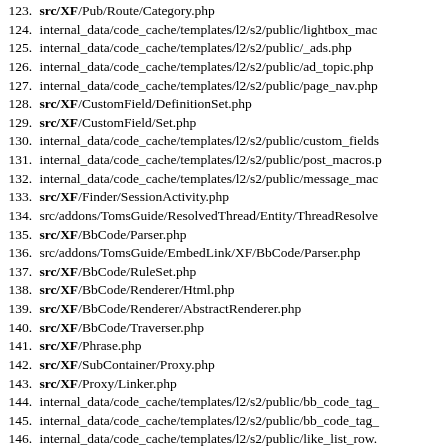123. src/XF/Pub/Route/Category.php
124. internal_data/code_cache/templates/l2/s2/public/lightbox_mac
125. internal_data/code_cache/templates/l2/s2/public/_ads.php
126. internal_data/code_cache/templates/l2/s2/public/ad_topic.php
127. internal_data/code_cache/templates/l2/s2/public/page_nav.php
128. src/XF/CustomField/DefinitionSet.php
129. src/XF/CustomField/Set.php
130. internal_data/code_cache/templates/l2/s2/public/custom_fields
131. internal_data/code_cache/templates/l2/s2/public/post_macros.p
132. internal_data/code_cache/templates/l2/s2/public/message_mac
133. src/XF/Finder/SessionActivity.php
134. src/addons/TomsGuide/ResolvedThread/Entity/ThreadResolve
135. src/XF/BbCode/Parser.php
136. src/addons/TomsGuide/EmbedLink/XF/BbCode/Parser.php
137. src/XF/BbCode/RuleSet.php
138. src/XF/BbCode/Renderer/Html.php
139. src/XF/BbCode/Renderer/AbstractRenderer.php
140. src/XF/BbCode/Traverser.php
141. src/XF/Phrase.php
142. src/XF/SubContainer/Proxy.php
143. src/XF/Proxy/Linker.php
144. internal_data/code_cache/templates/l2/s2/public/bb_code_tag_
145. internal_data/code_cache/templates/l2/s2/public/bb_code_tag_
146. internal_data/code_cache/templates/l2/s2/public/like_list_row.
147. internal_data/code_cache/phrase_groups/l2/likes.php
148. internal_data/code_cache/templates/l2/s2/public/share_page_